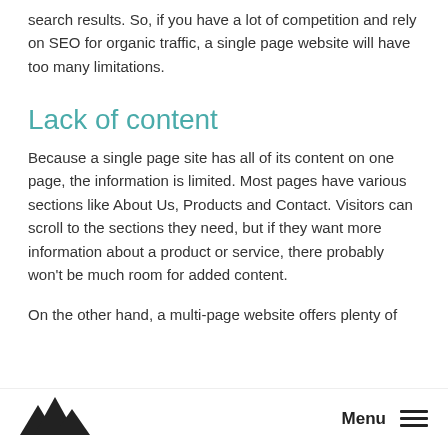search results. So, if you have a lot of competition and rely on SEO for organic traffic, a single page website will have too many limitations.
Lack of content
Because a single page site has all of its content on one page, the information is limited. Most pages have various sections like About Us, Products and Contact. Visitors can scroll to the sections they need, but if they want more information about a product or service, there probably won't be much room for added content.
On the other hand, a multi-page website offers plenty of
Menu